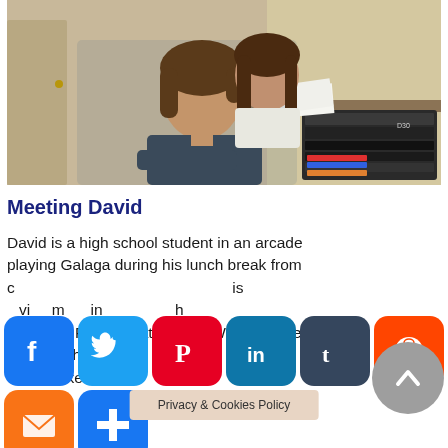[Figure (photo): Two teenagers (a boy and a girl) looking at a rack of audio/electronic equipment in a room. The boy wears a dark t-shirt; the girl stands behind him. Vintage equipment with tape reels visible.]
Meeting David
David is a high school student in an arcade playing Galaga during his lunch break from class. David's mother reveals that he is failing his class because he received an F on the latest test. We also meet Jennifer, who also f... Two bond over a joke David t... in the
[Figure (infographic): Social media sharing buttons: Facebook, Twitter, Pinterest, LinkedIn, Tumblr, Reddit, Email, Add/Share. Plus a scroll-to-top arrow button.]
Privacy & Cookies Policy